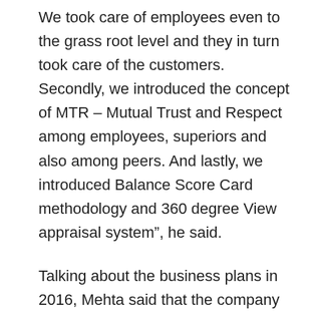We took care of employees even to the grass root level and they in turn took care of the customers. Secondly, we introduced the concept of MTR – Mutual Trust and Respect among employees, superiors and also among peers. And lastly, we introduced Balance Score Card methodology and 360 degree View appraisal system”, he said.
Talking about the business plans in 2016, Mehta said that the company would continue to focus on people related strategies. “We have consciously decided not to focus on any financial strategies but continue to focus on people related strategies. We believe this would prove to be another game changing year for us”, he said.